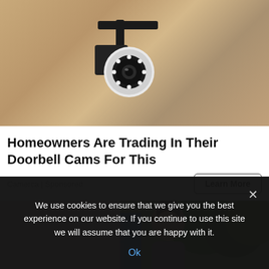[Figure (photo): Security camera mounted on exterior wall with warm beige stucco texture]
Homeowners Are Trading In Their Doorbell Cams For This
Camerca | Sponsored
[Figure (photo): Woman with hair up in bun smiling outdoors near trees and blue door]
We use cookies to ensure that we give you the best experience on our website. If you continue to use this site we will assume that you are happy with it.
Ok